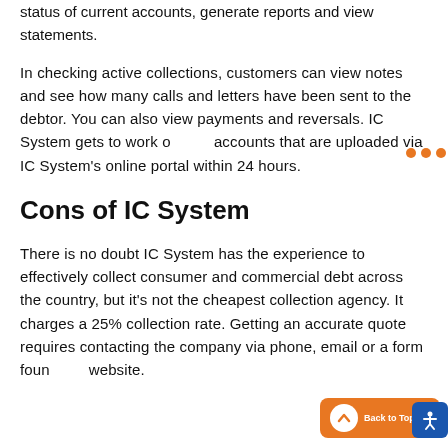status of current accounts, generate reports and view statements.
In checking active collections, customers can view notes and see how many calls and letters have been sent to the debtor. You can also view payments and reversals. IC System gets to work on accounts that are uploaded via IC System's online portal within 24 hours.
Cons of IC System
There is no doubt IC System has the experience to effectively collect consumer and commercial debt across the country, but it's not the cheapest collection agency. It charges a 25% collection rate. Getting an accurate quote requires contacting the company via phone, email or a form found on the website.